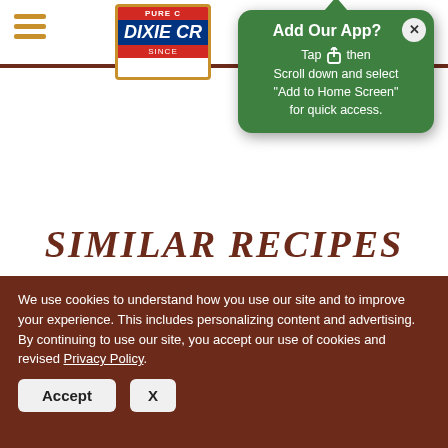[Figure (screenshot): Website navigation bar with hamburger menu icon and Dixie Crystals logo]
[Figure (screenshot): Green popup tooltip saying 'Add Our App? Tap then Scroll down and select Add to Home Screen for quick access.' with a close X button]
SIMILAR RECIPES
[Figure (screenshot): Carousel navigation buttons (left and right arrows) for recipe browsing]
[Figure (photo): Partial image of a baked recipe item at the bottom of the carousel]
We use cookies to understand how you use our site and to improve your experience. This includes personalizing content and advertising. By continuing to use our site, you accept our use of cookies and revised Privacy Policy.
Accept   X